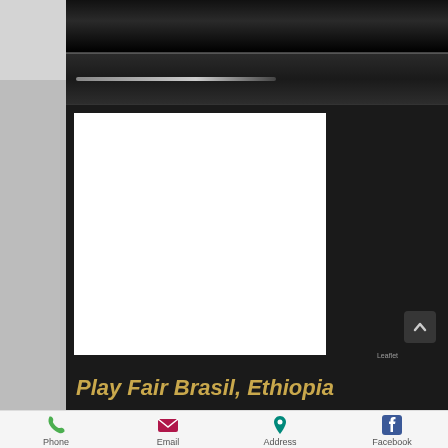[Figure (screenshot): Mobile app screenshot showing a dark-themed navigation UI with top bars, a white map/content placeholder box, a scroll-up button, and a title bar]
Play Fair Brasil, Ethiopia
[Figure (infographic): Bottom action bar with Phone, Email, Address, and Facebook icons and labels]